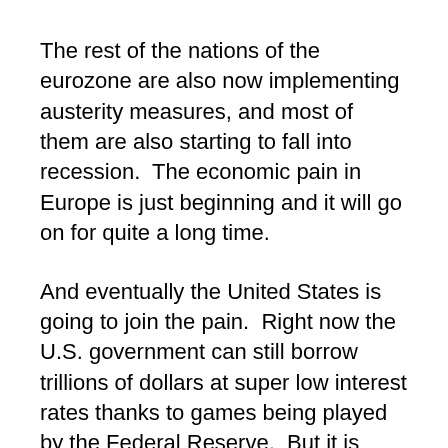The rest of the nations of the eurozone are also now implementing austerity measures, and most of them are also starting to fall into recession.  The economic pain in Europe is just beginning and it will go on for quite a long time.
And eventually the United States is going to join the pain.  Right now the U.S. government can still borrow trillions of dollars at super low interest rates thanks to games being played by the Federal Reserve.  But it is simply not possible for this Ponzi scheme to last too much longer.  When it ends, the pain will be extremely great.
And even in the short-term there are some